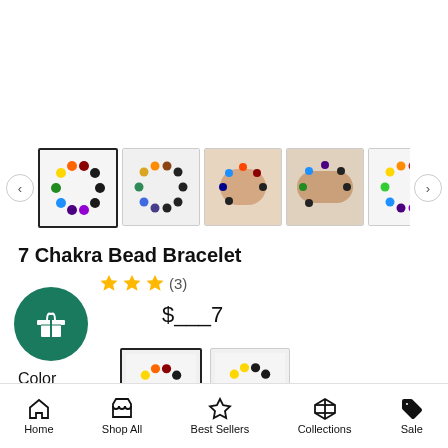[Figure (photo): Row of 5 product thumbnail images of 7 Chakra Bead Bracelets with left and right navigation arrows. First thumbnail is selected (highlighted border).]
7 Chakra Bead Bracelet
★★★ (3)
$___7
Color
[Figure (photo): Two color option thumbnails for the bracelet — colorful chakra version (selected) and a more muted version.]
Home  Shop All  Best Sellers  Collections  Sale